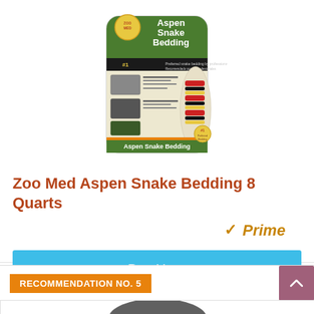[Figure (photo): Zoo Med Aspen Snake Bedding product bag — 8 dry quarts, white bag with green label and images of snakes on it, #1 preferred snake bedding badge]
Zoo Med Aspen Snake Bedding 8 Quarts
[Figure (logo): Amazon Prime badge — orange checkmark with 'Prime' in gold italic text]
Buy Here
RECOMMENDATION NO. 5